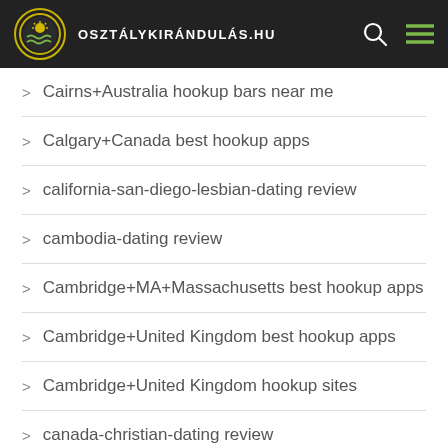osztálykirándulás.hu
Cairns+Australia hookup bars near me
Calgary+Canada best hookup apps
california-san-diego-lesbian-dating review
cambodia-dating review
Cambridge+MA+Massachusetts best hookup apps
Cambridge+United Kingdom best hookup apps
Cambridge+United Kingdom hookup sites
canada-christian-dating review
canada-russian-dating review